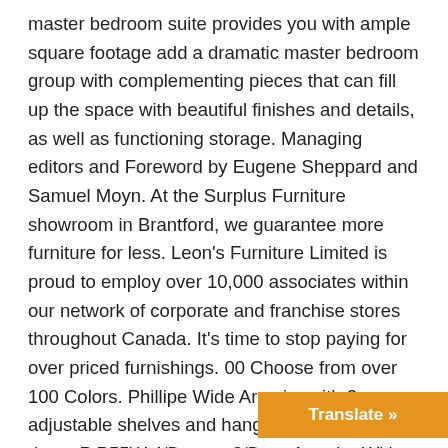master bedroom suite provides you with ample square footage add a dramatic master bedroom group with complementing pieces that can fill up the space with beautiful finishes and details, as well as functioning storage. Managing editors and Foreword by Eugene Sheppard and Samuel Moyn. At the Surplus Furniture showroom in Brantford, we guarantee more furniture for less. Leon's Furniture Limited is proud to employ over 10,000 associates within our network of corporate and franchise stores throughout Canada. It's time to stop paying for over priced furnishings. 00 Choose from over 100 Colors. Phillipe Wide Armoire with 2 adjustable shelves and hanging rod inside of doors P P55W 4/Drawer 2/Door Armoire With 2/Adjustable Shelves 48"Wx80"Hx26 1/8"D. 220 Eastview Dr Suite 102Brooklyn Heights, OH 44131. Come speak to our furniture experts for professional guidance. Com About Us Contact Us Terms Privacy Policy...